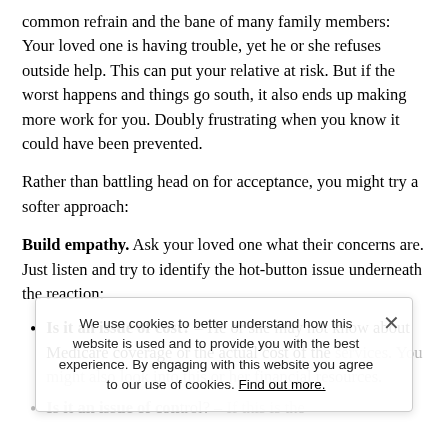common refrain and the bane of many family members: Your loved one is having trouble, yet he or she refuses outside help. This can put your relative at risk. But if the worst happens and things go south, it also ends up making more work for you. Doubly frustrating when you know it could have been prevented.
Rather than battling head on for acceptance, you might try a softer approach:
Build empathy. Ask your loved one what their concerns are. Just listen and try to identify the hot-button issue underneath the reaction:
Is it an issue of cost? – He or she may not know about Medicare coverage or the actual cost of the services. You might also look into this or her financial resources.
Is it an issue of control? – If this is the
We use cookies to better understand how this website is used and to provide you with the best experience. By engaging with this website you agree to our use of cookies. Find out more.